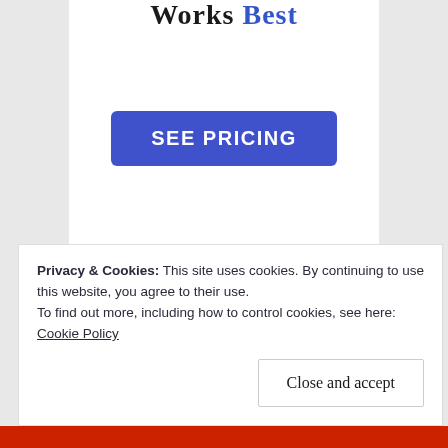[Figure (screenshot): Advertisement panel with 'Works Best' heading and 'SEE PRICING' button on white background]
REPORT THIS AD
Privacy & Cookies: This site uses cookies. By continuing to use this website, you agree to their use.
To find out more, including how to control cookies, see here: Cookie Policy
Close and accept